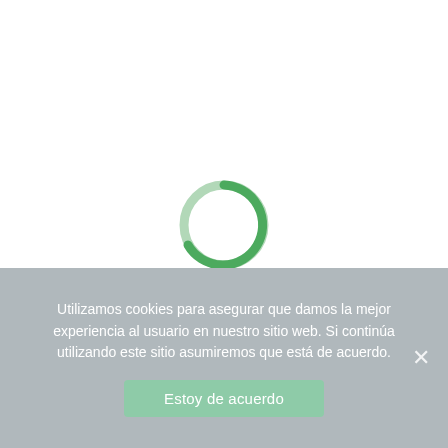[Figure (other): A circular loading spinner with a light green ring and a darker green arc segment indicating loading progress, centered in the white upper area of the page.]
Utilizamos cookies para asegurar que damos la mejor experiencia al usuario en nuestro sitio web. Si continúa utilizando este sitio asumiremos que está de acuerdo.
Estoy de acuerdo